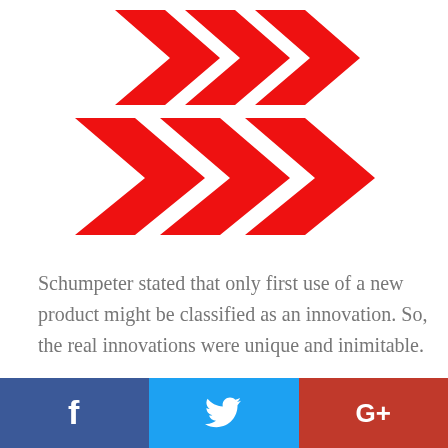[Figure (illustration): Three red chevron/arrow shapes pointing right, arranged in two rows — two on top row, one large set below, creating a triple-chevron decorative graphic in red.]
Schumpeter stated that only first use of a new product might be classified as an innovation. So, the real innovations were unique and inimitable.
On the other hand, there Peter Drucker and
[Figure (infographic): Social media share bar at the bottom with three sections: Facebook (blue, f icon), Twitter (light blue, bird icon), Google+ (red-orange, G+ icon).]